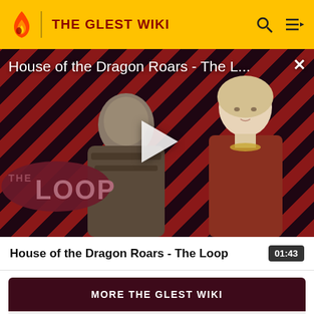THE GLEST WIKI
[Figure (screenshot): Video thumbnail for 'House of the Dragon Roars - The Loop' showing two characters on a diagonal red/dark stripe background with a play button overlay and THE LOOP logo]
House of the Dragon Roars - The Loop
01:43
MORE THE GLEST WIKI